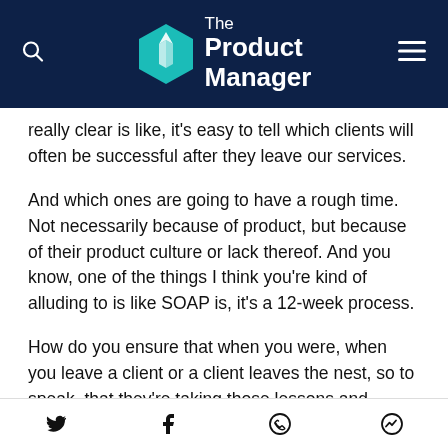The Product Manager
really clear is like, it's easy to tell which clients will often be successful after they leave our services.
And which ones are going to have a rough time. Not necessarily because of product, but because of their product culture or lack thereof. And you know, one of the things I think you're kind of alluding to is like SOAP is, it's a 12-week process.
How do you ensure that when you were, when you leave a client or a client leaves the nest, so to speak, that they're taking those lessons and embedding them into the culture from working with you so that they have that
Social share icons: Twitter, Facebook, WhatsApp, Messenger